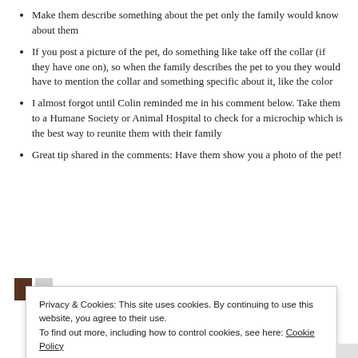Make them describe something about the pet only the family would know about them
If you post a picture of the pet, do something like take off the collar (if they have one on), so when the family describes the pet to you they would have to mention the collar and something specific about it, like the color
I almost forgot until Colin reminded me in his comment below. Take them to a Humane Society or Animal Hospital to check for a microchip which is the best way to reunite them with their family
Great tip shared in the comments: Have them show you a photo of the pet!
[Figure (other): Decorative brown/grey bar graphic element]
Privacy & Cookies: This site uses cookies. By continuing to use this website, you agree to their use.
To find out more, including how to control cookies, see here: Cookie Policy
Close and accept